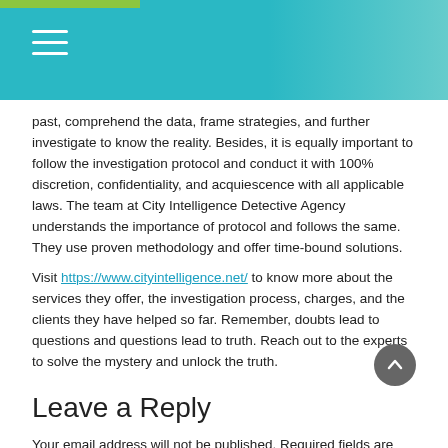City Intelligence Detective Agency website header with hamburger menu
past, comprehend the data, frame strategies, and further investigate to know the reality. Besides, it is equally important to follow the investigation protocol and conduct it with 100% discretion, confidentiality, and acquiescence with all applicable laws. The team at City Intelligence Detective Agency understands the importance of protocol and follows the same. They use proven methodology and offer time-bound solutions.
Visit https://www.cityintelligence.net/ to know more about the services they offer, the investigation process, charges, and the clients they have helped so far. Remember, doubts lead to questions and questions lead to truth. Reach out to the experts to solve the mystery and unlock the truth.
Leave a Reply
Your email address will not be published. Required fields are marked *
Comment